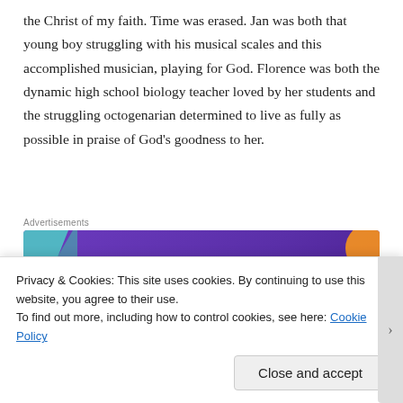the Christ of my faith. Time was erased. Jan was both that young boy struggling with his musical scales and this accomplished musician, playing for God. Florence was both the dynamic high school biology teacher loved by her students and the struggling octogenarian determined to live as fully as possible in praise of God's goodness to her.
[Figure (other): WooCommerce advertisement banner with purple background: 'Turn your hobby into a business in 8 steps']
Today is the waiting day, a day to hold the eternity of
Privacy & Cookies: This site uses cookies. By continuing to use this website, you agree to their use.
To find out more, including how to control cookies, see here: Cookie Policy